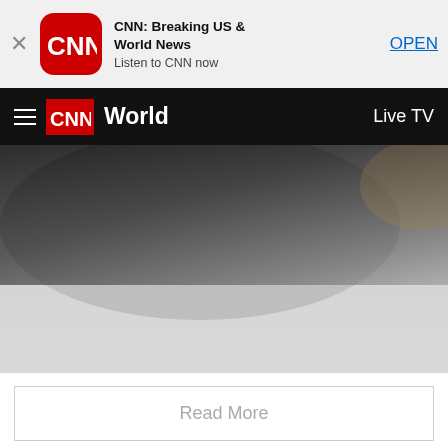[Figure (screenshot): CNN app install banner with CNN logo icon, app name 'CNN: Breaking US & World News', subtitle 'Listen to CNN now', and an OPEN button on a light gray background. A close (X) button is on the left.]
CNN World   Live TV
[Figure (photo): Partial view of a dark-furred animal (appears to be a bear or similar large animal), fading to white toward the bottom of the image.]
Read More